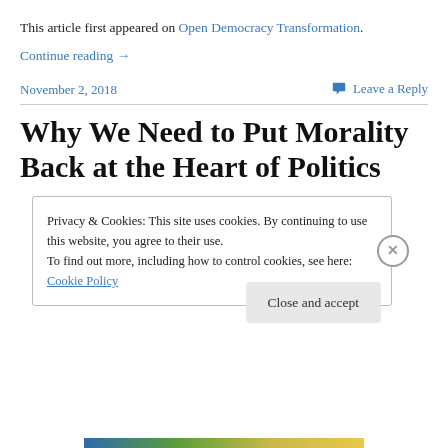This article first appeared on Open Democracy Transformation.
Continue reading →
November 2, 2018
Leave a Reply
Why We Need to Put Morality Back at the Heart of Politics
Privacy & Cookies: This site uses cookies. By continuing to use this website, you agree to their use.
To find out more, including how to control cookies, see here: Cookie Policy
Close and accept